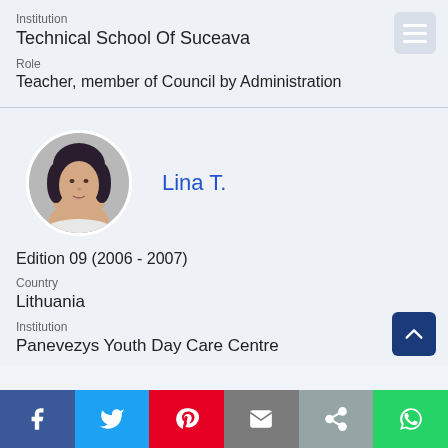Institution
Technical School Of Suceava
Role
Teacher, member of Council by Administration
Lina T.
Edition 09 (2006 - 2007)
Country
Lithuania
Institution
Panevezys Youth Day Care Centre